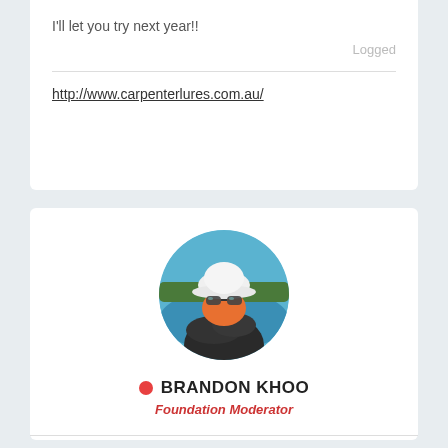I'll let you try next year!!
Logged
http://www.carpenterlures.com.au/
[Figure (photo): Circular profile photo of Brandon Khoo wearing a white hat, sunglasses, and orange face covering, arms crossed, with water and trees in background]
BRANDON KHOO
Foundation Moderator
4132